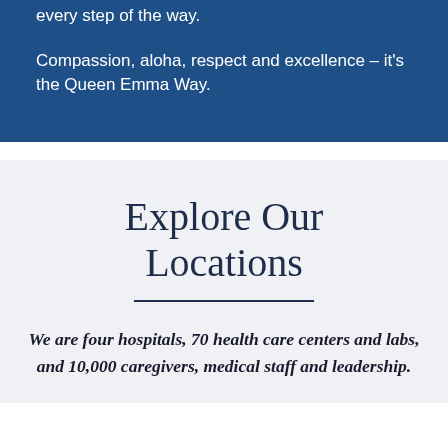every step of the way.
Compassion, aloha, respect and excellence – it's the Queen Emma Way.
Explore Our Locations
We are four hospitals, 70 health care centers and labs, and 10,000 caregivers, medical staff and leadership.